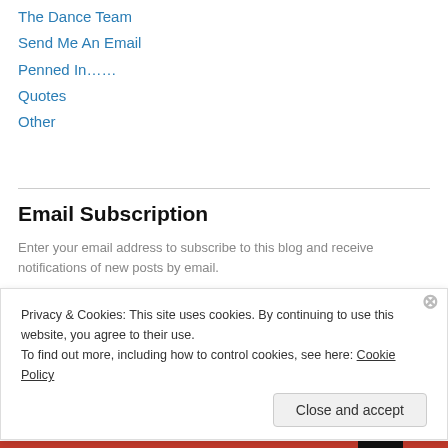The Dance Team
Send Me An Email
Penned In……
Quotes
Other
Email Subscription
Enter your email address to subscribe to this blog and receive notifications of new posts by email.
Enter your email address
Privacy & Cookies: This site uses cookies. By continuing to use this website, you agree to their use.
To find out more, including how to control cookies, see here: Cookie Policy
Close and accept